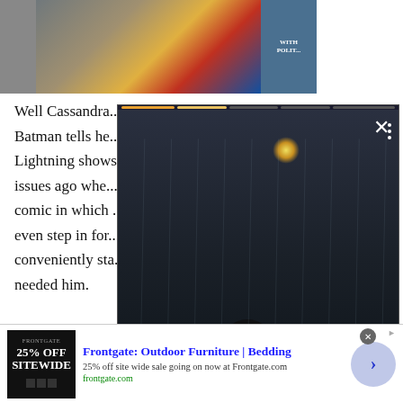[Figure (photo): Airplane cargo/luggage loading scene with colorful boxes and Southwest Airlines plane, banner image at top]
[Figure (screenshot): Video popup overlay showing a dark rainy scene with a crouching figure and bird, with playback progress bar, close button (X), dots menu, and orange arrow button]
Well Cassandra... Batman tells he... Lightning shows... issues ago whe... comic in which ... even step in for... conveniently sta... needed him.
[Figure (photo): Frontgate advertisement: 25% OFF SITEWIDE, Frontgate: Outdoor Furniture | Bedding, 25% off site wide sale going on now at Frontgate.com, frontgate.com]